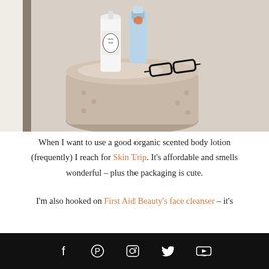[Figure (photo): Photo of two skincare/beauty product bottles — a white bottle with black label reading 'Skin Trip' and a blue tube — sitting on a shiny metallic round stool/table alongside a pair of black eyeglasses. Background shows a white upholstered headboard with nail-head trim.]
When I want to use a good organic scented body lotion (frequently) I reach for Skin Trip. It's affordable and smells wonderful – plus the packaging is cute.
I'm also hooked on First Aid Beauty's face cleanser – it's
Social icons: Facebook, Pinterest, Instagram, Twitter, YouTube